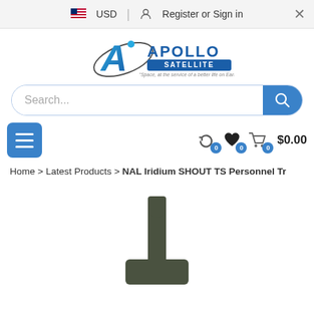USD | Register or Sign in
[Figure (logo): Apollo Satellite logo with tagline 'Space, at the service of a better life on Earth']
Search...
[Figure (infographic): Navigation bar with hamburger menu button, refresh icon with badge 0, heart icon with badge 0, cart icon with badge 0 and $0.00 total]
Home > Latest Products > NAL Iridium SHOUT TS Personnel Tr
[Figure (photo): Product photo of NAL Iridium SHOUT TS Personnel Tracker showing a dark olive/green colored device with antenna]